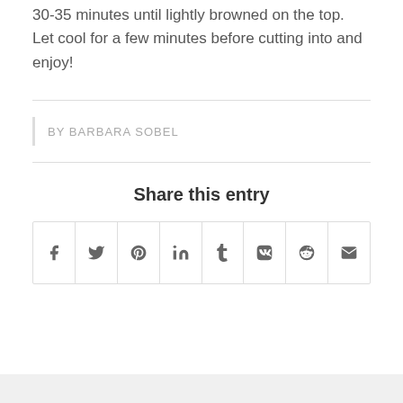30-35 minutes until lightly browned on the top. Let cool for a few minutes before cutting into and enjoy!
BY BARBARA SOBEL
Share this entry
[Figure (infographic): Social media share buttons in a row: Facebook (f), Twitter (bird), Pinterest (P), LinkedIn (in), Tumblr (t), VK (VK), Reddit (alien), Email (envelope)]